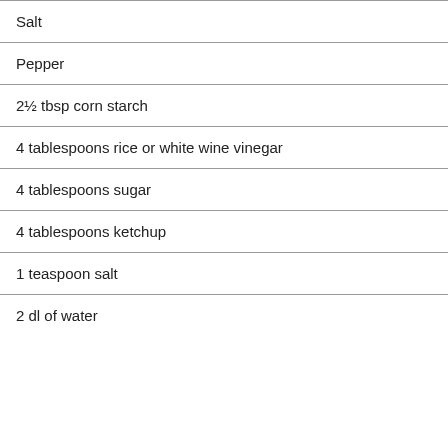Salt
Pepper
2½ tbsp corn starch
4 tablespoons rice or white wine vinegar
4 tablespoons sugar
4 tablespoons ketchup
1 teaspoon salt
2 dl of water